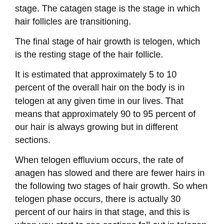stage. The catagen stage is the stage in which hair follicles are transitioning.
The final stage of hair growth is telogen, which is the resting stage of the hair follicle.
It is estimated that approximately 5 to 10 percent of the overall hair on the body is in telogen at any given time in our lives. That means that approximately 90 to 95 percent of our hair is always growing but in different sections.
When telogen effluvium occurs, the rate of anagen has slowed and there are fewer hairs in the following two stages of hair growth. So when telogen phase occurs, there is actually 30 percent of our hairs in that stage, and this is when you start to see sections fall out in telogen effluvium.
It is not often a drastic falling out, but you may notice more hair in your brush or sink than usual. Read the top 5 myths about female hair loss before you lose